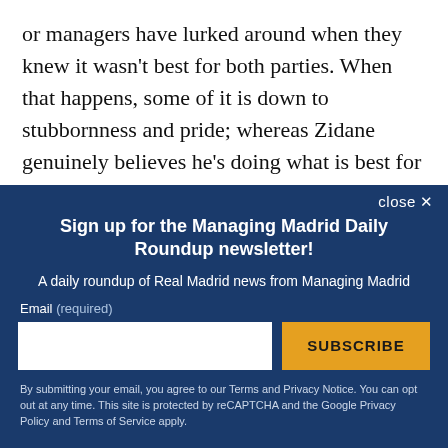or managers have lurked around when they knew it wasn't best for both parties. When that happens, some of it is down to stubbornness and pride; whereas Zidane genuinely believes he's doing what is best for the club by leaving now. He may or may not be right, but the fact he assuredly feels this way points to bigger questions that we don't have the answers to yet, and
close ×
Sign up for the Managing Madrid Daily Roundup newsletter!
A daily roundup of Real Madrid news from Managing Madrid
Email (required)
SUBSCRIBE
By submitting your email, you agree to our Terms and Privacy Notice. You can opt out at any time. This site is protected by reCAPTCHA and the Google Privacy Policy and Terms of Service apply.